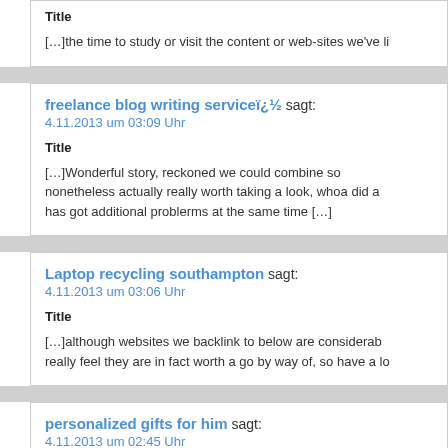Title
[…]the time to study or visit the content or web-sites we've li
freelance blog writing serviceï¿½ sagt:
4.11.2013 um 03:09 Uhr
Title
[…]Wonderful story, reckoned we could combine so nonetheless actually really worth taking a look, whoa did a has got additional problerms at the same time […]
Laptop recycling southampton sagt:
4.11.2013 um 03:06 Uhr
Title
[…]although websites we backlink to below are considerab really feel they are in fact worth a go by way of, so have a lo
personalized gifts for him sagt:
4.11.2013 um 02:45 Uhr
personalized gifts for him